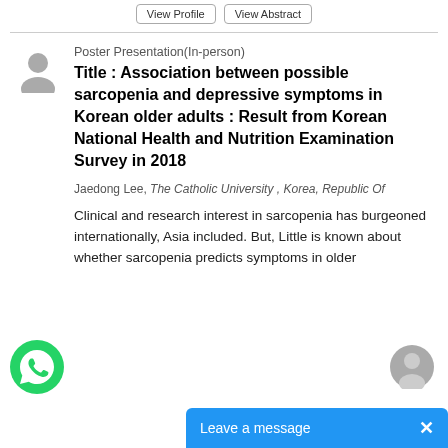View Profile  View Abstract
Poster Presentation(In-person)
Title : Association between possible sarcopenia and depressive symptoms in Korean older adults : Result from Korean National Health and Nutrition Examination Survey in 2018
Jaedong Lee, The Catholic University, Korea, Republic Of
Clinical and research interest in sarcopenia has burgeoned internationally, Asia included. But, Little is known about whether sarcopenia predicts symptoms in older